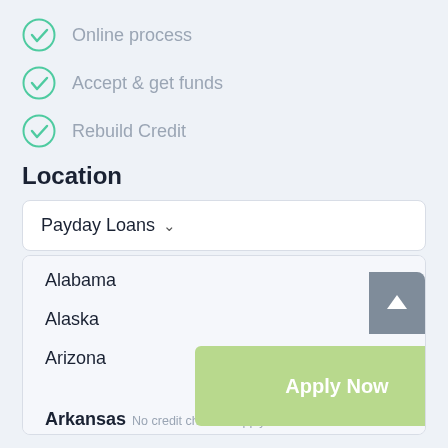Online process
Accept & get funds
Rebuild Credit
Location
Payday Loans
Alabama
Alaska
Arizona
Apply Now
Applying does NOT affect your credit score!
Arkansas
No credit check to apply.